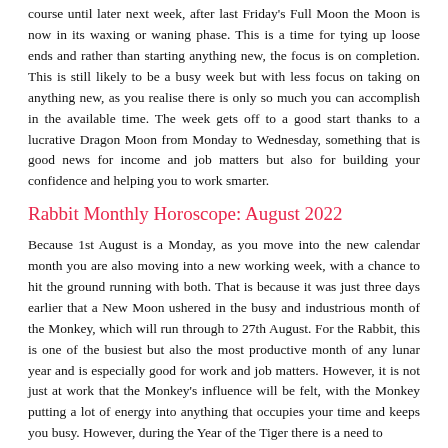course until later next week, after last Friday's Full Moon the Moon is now in its waxing or waning phase. This is a time for tying up loose ends and rather than starting anything new, the focus is on completion. This is still likely to be a busy week but with less focus on taking on anything new, as you realise there is only so much you can accomplish in the available time. The week gets off to a good start thanks to a lucrative Dragon Moon from Monday to Wednesday, something that is good news for income and job matters but also for building your confidence and helping you to work smarter.
Rabbit Monthly Horoscope: August 2022
Because 1st August is a Monday, as you move into the new calendar month you are also moving into a new working week, with a chance to hit the ground running with both. That is because it was just three days earlier that a New Moon ushered in the busy and industrious month of the Monkey, which will run through to 27th August. For the Rabbit, this is one of the busiest but also the most productive month of any lunar year and is especially good for work and job matters. However, it is not just at work that the Monkey's influence will be felt, with the Monkey putting a lot of energy into anything that occupies your time and keeps you busy. However, during the Year of the Tiger there is a need to